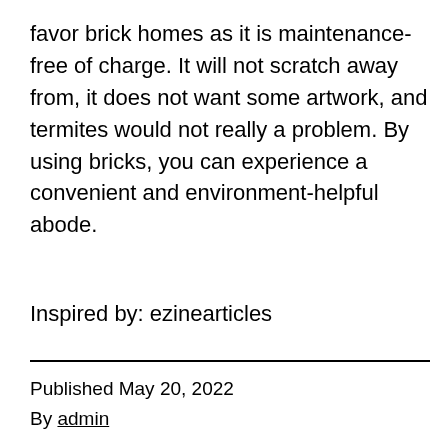favor brick homes as it is maintenance-free of charge. It will not scratch away from, it does not want some artwork, and termites would not really a problem. By using bricks, you can experience a convenient and environment-helpful abode.
Inspired by: ezinearticles
Published May 20, 2022
By admin